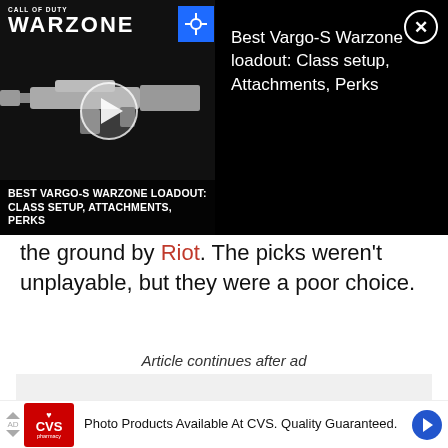[Figure (screenshot): Video overlay banner showing Call of Duty Warzone game with play button and title 'BEST VARGO-S WARZONE LOADOUT: CLASS SETUP, ATTACHMENTS, PERKS' on the left thumbnail, and text 'Best Vargo-S Warzone loadout: Class setup, Attachments, Perks' on the right with a close button.]
the ground by Riot. The picks weren't unplayable, but they were a poor choice.
Article continues after ad
[Figure (screenshot): Ad placeholder gray rectangle]
[Figure (screenshot): CVS Pharmacy advertisement banner: 'Photo Products Available At CVS. Quality Guaranteed.']